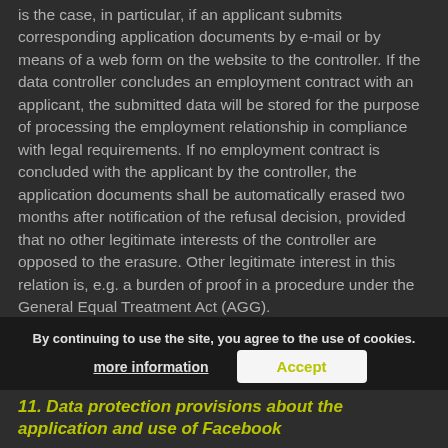is the case, in particular, if an applicant submits corresponding application documents by e-mail or by means of a web form on the website to the controller. If the data controller concludes an employment contract with an applicant, the submitted data will be stored for the purpose of processing the employment relationship in compliance with legal requirements. If no employment contract is concluded with the applicant by the controller, the application documents shall be automatically erased two months after notification of the refusal decision, provided that no other legitimate interests of the controller are opposed to the erasure. Other legitimate interest in this relation is, e.g. a burden of proof in a procedure under the General Equal Treatment Act (AGG).
By continuing to use the site, you agree to the use of cookies.
more information
Accept
11. Data protection provisions about the application and use of Facebook